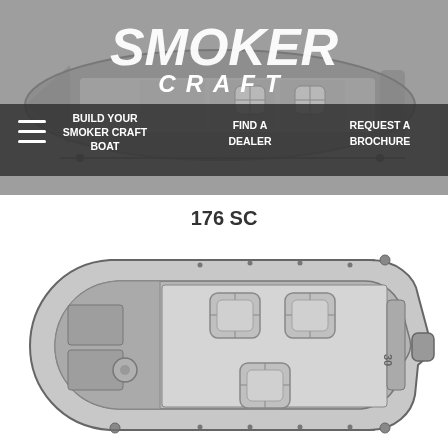[Figure (illustration): Smoker Craft boat header with top-down boat diagram, Smoker Craft logo in white italic bold text, and navigation bar with hamburger menu, BUILD YOUR SMOKER CRAFT BOAT, FIND A DEALER, REQUEST A BROCHURE links on dark overlay]
176 SC
[Figure (engineering-diagram): Top-down engineering diagram of Smoker Craft 176 SC boat showing interior layout with three seats, storage areas, bow section, and motor mount at stern with number 30 marked]